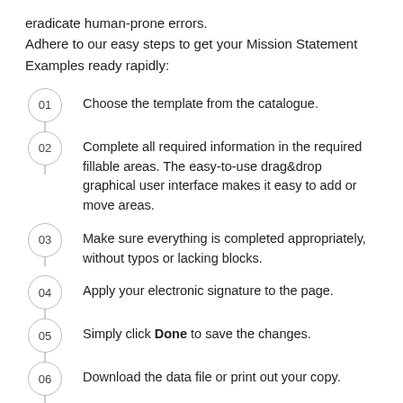eradicate human-prone errors.
Adhere to our easy steps to get your Mission Statement Examples ready rapidly:
Choose the template from the catalogue.
Complete all required information in the required fillable areas. The easy-to-use drag&drop graphical user interface makes it easy to add or move areas.
Make sure everything is completed appropriately, without typos or lacking blocks.
Apply your electronic signature to the page.
Simply click Done to save the changes.
Download the data file or print out your copy.
Distribute immediately towards the receiver.
Take advantage of the fast search, and powerful cloud